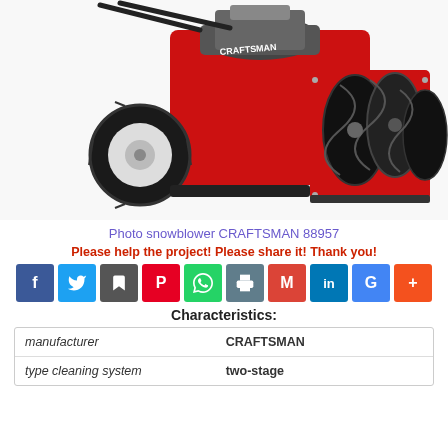[Figure (photo): Close-up photo of a red Craftsman snowblower showing the auger mechanism, wheel, and engine from the front-side angle on white background]
Photo snowblower CRAFTSMAN 88957
Please help the project! Please share it! Thank you!
[Figure (infographic): Social media share buttons row: Facebook, Twitter, Bookmark, Pinterest, WhatsApp, Print, Gmail, LinkedIn, Google, More (+)]
Characteristics:
| manufacturer | CRAFTSMAN |
| type cleaning system | two-stage |